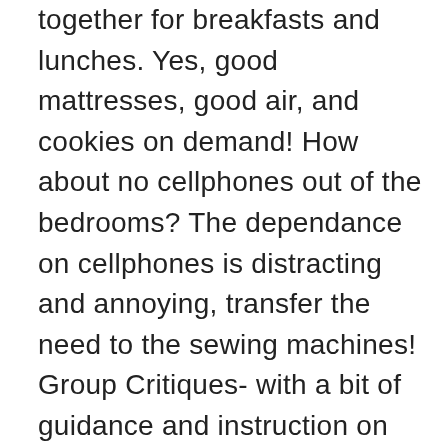together for breakfasts and lunches. Yes, good mattresses, good air, and cookies on demand! How about no cellphones out of the bedrooms? The dependance on cellphones is distracting and annoying, transfer the need to the sewing machines! Group Critiques- with a bit of guidance and instruction on HOW to do this correctly. Time to do a treasure hunt- whatever you send them out to ‘find’, just to stretch and get away from their work and see the town. I could go on and on- but basically I feel that instruction could be 4-6 hours a day with breaks when something fun and small is planned to move folks around. The rest of the day could be free where they could